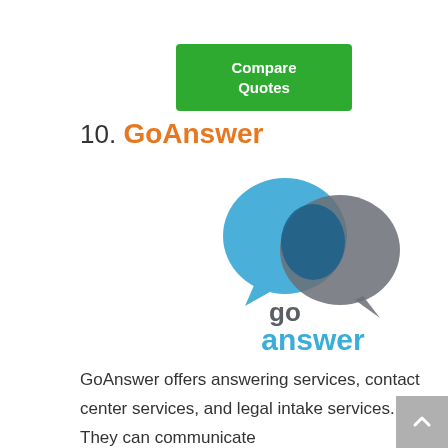[Figure (other): Green button with white text reading 'Compare Quotes']
10. GoAnswer
[Figure (logo): GoAnswer logo: two overlapping speech bubble circles (blue and grey) above the text 'go answer' in blue and grey colors]
GoAnswer offers answering services, contact center services, and legal intake services. They can communicate